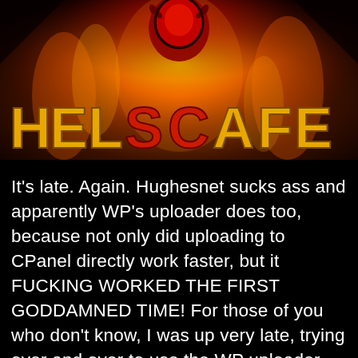[Figure (logo): Hell's Cafe banner image with fiery background, demonic creature at top, and stylized text reading HELL'S CAFE in yellow and red letters]
It's late. Again. Hughesnet sucks ass and apparently WP's uploader does too, because not only did uploading to CPanel directly work faster, but it FUCKING WORKED THE FIRST GODDAMNED TIME! For those of you who don't know, I was up very late, trying over and over to use the WP uploader for this episode. I … Read more